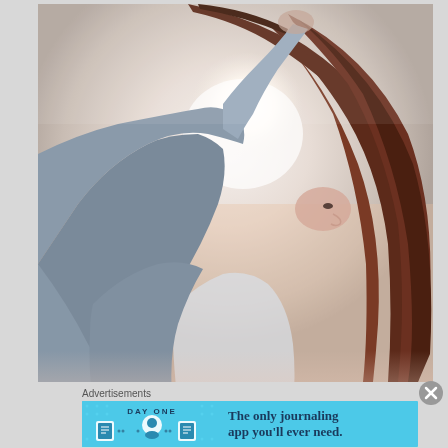[Figure (photo): A woman with long wavy reddish-brown hair photographed from behind/side profile, wearing a light grey jacket, with her hand raised to her head. Bright backlight creates a glowing halo effect behind her.]
Advertisements
[Figure (infographic): Advertisement banner for DayOne journaling app. Blue background with DAY ONE logo, three small cartoon icons of a journal, a person, and a notepad with dots, and text reading 'The only journaling app you'll ever need.']